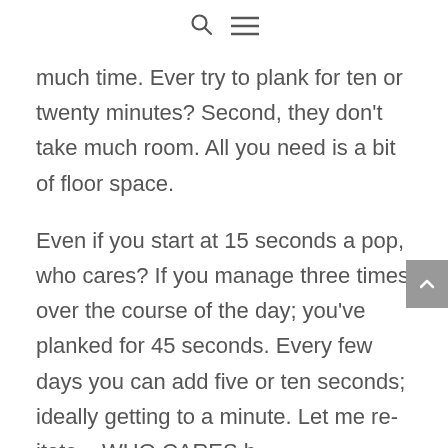[search icon] [menu icon]
much time. Ever try to plank for ten or twenty minutes? Second, they don't take much room. All you need is a bit of floor space.
Even if you start at 15 seconds a pop, who cares? If you manage three times over the course of the day; you've planked for 45 seconds. Every few days you can add five or ten seconds; ideally getting to a minute. Let me re- iterate... WHO CARES b...